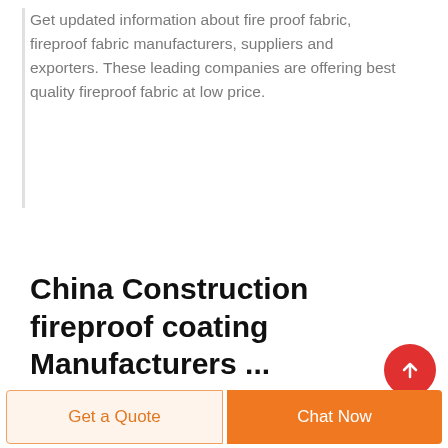Get updated information about fire proof fabric, fireproof fabric manufacturers, suppliers and exporters. These leading companies are offering best quality fireproof fabric at low price.
China Construction fireproof coating Manufacturers ...
Get a Quote | Chat Now